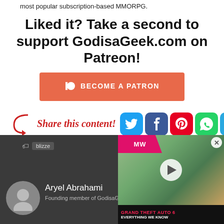most popular subscription-based MMORPG.
Liked it? Take a second to support GodisaGeek.com on Patreon!
[Figure (screenshot): Orange Patreon 'Become a Patron' button with Patreon logo icon]
[Figure (infographic): Share this content! label with arrow and six social media icons: Twitter, Facebook, Pinterest, WhatsApp, Telegram, Snapchat]
[Figure (screenshot): Overlaid video ad for Grand Theft Auto 6 Everything We Know with MW Network logo and play button]
blizze
Aryel Abrahami
Founding member of GodisaGeek.